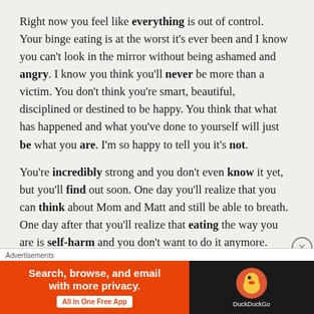Right now you feel like everything is out of control. Your binge eating is at the worst it's ever been and I know you can't look in the mirror without being ashamed and angry. I know you think you'll never be more than a victim. You don't think you're smart, beautiful, disciplined or destined to be happy. You think that what has happened and what you've done to yourself will just be what you are. I'm so happy to tell you it's not.
You're incredibly strong and you don't even know it yet, but you'll find out soon. One day you'll realize that you can think about Mom and Matt and still be able to breath. One day after that you'll realize that eating the way you are is self-harm and you don't want to do it anymore. Then one day, you'll wake up, go look in the
Advertisements
[Figure (other): DuckDuckGo advertisement banner: orange section with text 'Search, browse, and email with more privacy. All in One Free App' and dark section with DuckDuckGo duck logo]